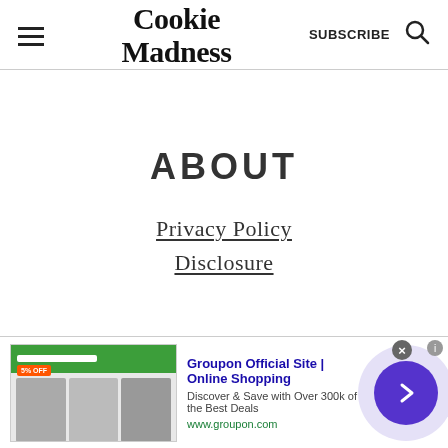Cookie Madness — SUBSCRIBE
ABOUT
Privacy Policy
Disclosure
NEWSLETTER
[Figure (screenshot): Advertisement banner: Groupon Official Site | Online Shopping. Discover & Save with Over 300k of the Best Deals. www.groupon.com]